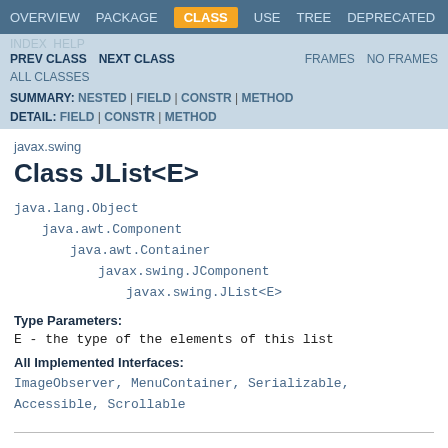OVERVIEW  PACKAGE  CLASS  USE  TREE  DEPRECATED  INDEX  HELP
PREV CLASS  NEXT CLASS  FRAMES  NO FRAMES  ALL CLASSES
SUMMARY: NESTED | FIELD | CONSTR | METHOD  DETAIL: FIELD | CONSTR | METHOD
javax.swing
Class JList<E>
java.lang.Object
    java.awt.Component
        java.awt.Container
            javax.swing.JComponent
                javax.swing.JList<E>
Type Parameters:
E - the type of the elements of this list
All Implemented Interfaces:
ImageObserver, MenuContainer, Serializable, Accessible, Scrollable